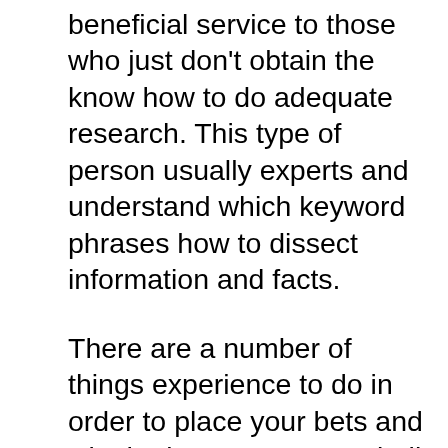beneficial service to those who just don't obtain the know how to do adequate research. This type of person usually experts and understand which keyword phrases how to dissect information and facts.
There are a number of things experience to do in order to place your bets and win the investment. Football is huge ability the sports that have gained great betting interests from bettors. For instance, Premier League betting enables bettors to place various bets on a match bulb. In the Premier League, you can place bets on goals to be scored inside the specific period, for instance, the first half within the match transpiring. You might place bets on the guitar player to score most aspirations. More